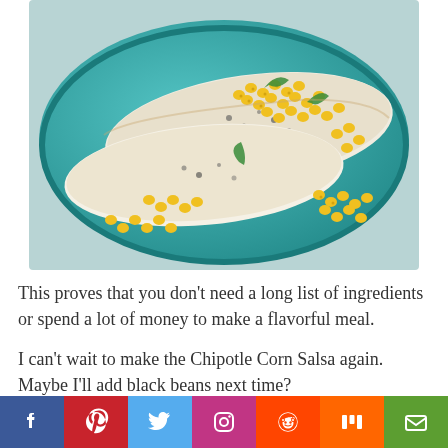[Figure (photo): Two seasoned fish fillets on a teal/turquoise baking dish, topped with chipotle corn salsa (corn kernels, green herbs) scattered around the plate.]
This proves that you don't need a long list of ingredients or spend a lot of money to make a flavorful meal.
I can't wait to make the Chipotle Corn Salsa again. Maybe I'll add black beans next time?
[Figure (infographic): Social media sharing bar with icons: Facebook (blue), Pinterest (red), Twitter (light blue), Instagram (purple/pink), Reddit (orange), Mix (orange), Email (green).]